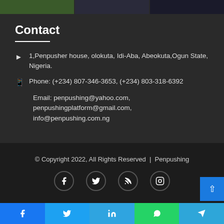[Figure (photo): Top image strip showing partial cropped photos of people]
Contact
1,Penpusher house, olokuta, Idi-Aba, Abeokuta,Ogun State, Nigeria.
Phone: (+234) 807-346-3653, (+234) 803-318-6392
Email: penpushing@yahoo.com, penpushingplatform@gmail.com, info@penpushing.com.ng
© Copyright 2022, All Rights Reserved  |  Penpushing
[Figure (illustration): Social media icons row: Facebook, Twitter, RSS, Instagram]
[Figure (illustration): Bottom social share bar with Facebook, Twitter, LinkedIn, WhatsApp, Telegram icons]